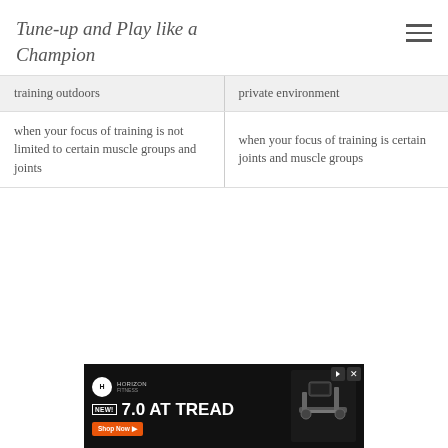Tune-up and Play like a Champion
| training outdoors | private environment |
| when your focus of training is not limited to certain muscle groups and joints | when your focus of training is certain joints and muscle groups |
[Figure (photo): Advertisement banner for Horizon Fitness NEW! 7.0 AT TREAD treadmill with Shop Now button]